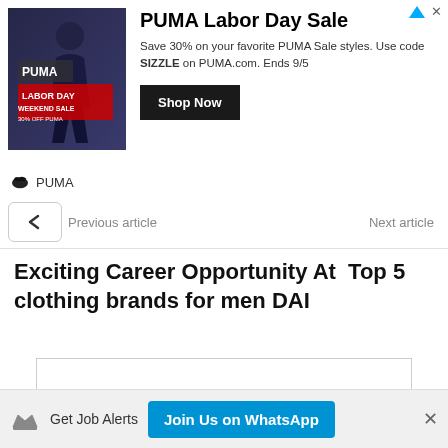[Figure (screenshot): PUMA Labor Day Sale advertisement banner with image of athlete, PUMA logo, Shop Now button]
Previous article
Next article
Exciting Career Opportunity At  Top 5 clothing brands for men DAI
EverydayNewsGH
Get Job Alerts Join Us on WhatsApp